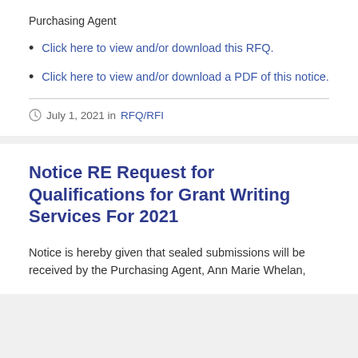Purchasing Agent
Click here to view and/or download this RFQ.
Click here to view and/or download a PDF of this notice.
July 1, 2021 in RFQ/RFI
Notice RE Request for Qualifications for Grant Writing Services For 2021
Notice is hereby given that sealed submissions will be received by the Purchasing Agent, Ann Marie Whelan,